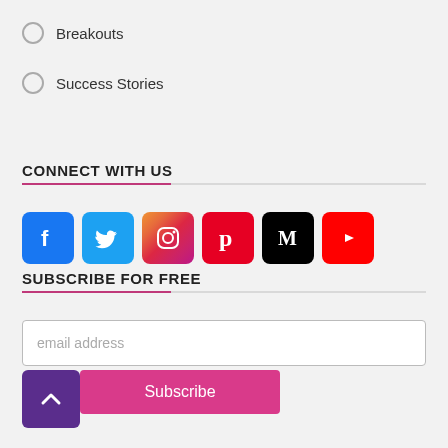Breakouts
Success Stories
CONNECT WITH US
[Figure (infographic): Six social media icon buttons: Facebook (blue), Twitter (light blue), Instagram (gradient pink/orange), Pinterest (red), Medium (black M), YouTube (red play button)]
SUBSCRIBE FOR FREE
[Figure (infographic): Email address input field and Subscribe button in pink, with a purple scroll-up chevron button overlaid on the left]